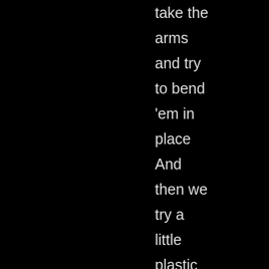take the
arms
and try
to bend
'em in
place
And
then we
try a
little
plastic
on his
feet 'n'
his face
Then we
twist his
right leg
so it fits
on a
bike,
And the
left leg
we do